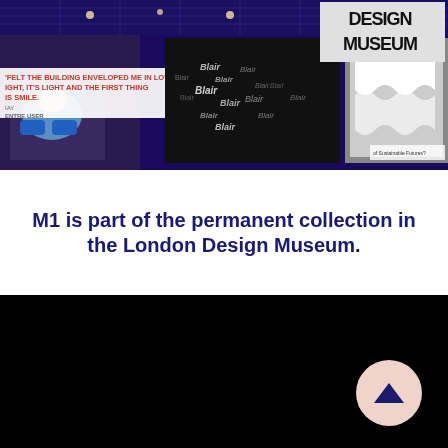[Figure (photo): Interior of the London Design Museum exhibition space showing display panels, Blair typography exhibit, and Design Museum logo in top right corner]
M1 is part of the permanent collection in the London Design Museum.
[Figure (photo): Black background section with a light pink circular scroll-to-top button with an upward chevron arrow in the bottom right]